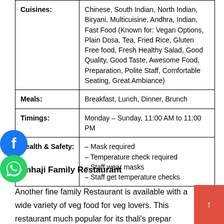| Field | Value |
| --- | --- |
| Cuisines: | Chinese, South Indian, North Indian, Biryani, Multicuisine, Andhra, Indian, Fast Food (Known for: Vegan Options, Plain Dosa, Tea, Fried Rice, Gluten Free food, Fresh Healthy Salad, Good Quality, Good Taste, Awesome Food, Preparation, Polite Staff, Comfortable Seating, Great Ambiance) |
| Meals: | Breakfast, Lunch, Dinner, Brunch |
| Timings: | Monday – Sunday, 11:00 AM to 11:00 PM |
| Health & Safety: | – Mask required
– Temperature check required
– Staff wear masks
– Staff get temperature checks |
[Figure (logo): Facebook social media icon (blue circle with white 'f' logo)]
[Figure (logo): WhatsApp icon (green circle with white phone/handset logo)]
Kanhaji Family Restaurant
Another fine family Restaurant is available with a wide variety of veg food for veg lovers. This restaurant much popular for its thali's prepar…